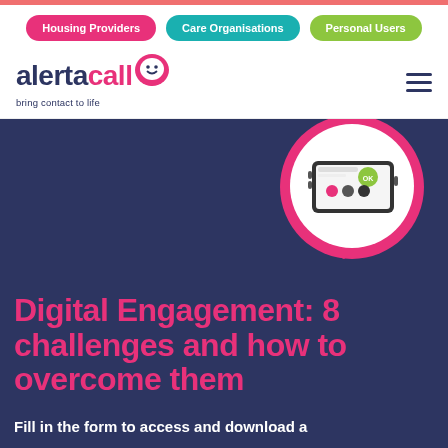Housing Providers | Care Organisations | Personal Users
[Figure (logo): Alertacall logo with speech bubble icon and tagline 'bring contact to life']
[Figure (screenshot): Device/tablet showing a housing proactive app screen with OK button and icons, inside a pink speech bubble circle on dark blue background]
Digital Engagement: 8 challenges and how to overcome them
Fill in the form to access and download a